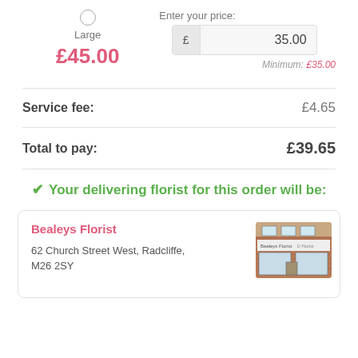Large | £45.00
Enter your price: £ 35.00
Minimum: £35.00
| Service fee: | £4.65 |
| --- | --- |
| Total to pay: | £39.65 |
| --- | --- |
✓ Your delivering florist for this order will be:
Bealeys Florist
62 Church Street West, Radcliffe, M26 2SY
[Figure (photo): Storefront of Bealeys Florist, a brick building with shop signage]